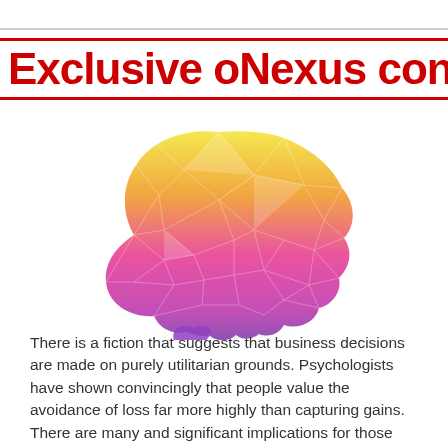Exclusive oNexus content
[Figure (illustration): A low-poly geometric brain illustration with a gradient from yellow at the top through orange and pink to purple at the bottom, with a light shadow beneath it.]
There is a fiction that suggests that business decisions are made on purely utilitarian grounds. Psychologists have shown convincingly that people value the avoidance of loss far more highly than capturing gains. There are many and significant implications for those seeking to implement change, particularly in an agile environment.